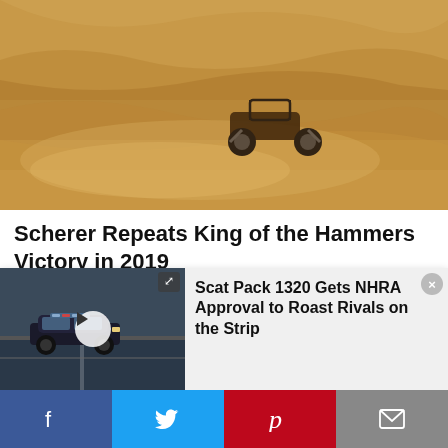[Figure (photo): Off-road buggy racing through sandy terrain with dust cloud, golden light]
Scherer Repeats King of the Hammers Victory in 2019
February 15, 2019   Todd Sharp
King of the Hammers: If you've never heard of it, where the hell have you been?
[Figure (screenshot): Notification overlay showing a dark blue Dodge Challenger on a drag strip with a play button, and text: Scat Pack 1320 Gets NHRA Approval to Roast Rivals on the Strip, with expand and close icons]
Scat Pack 1320 Gets NHRA Approval to Roast Rivals on the Strip